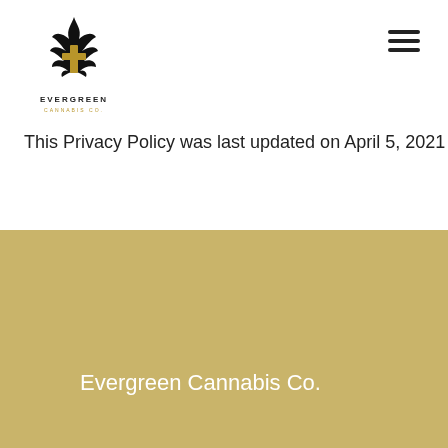[Figure (logo): Evergreen Cannabis Co. logo with cannabis leaf and text]
This Privacy Policy was last updated on April 5, 2021
Evergreen Cannabis Co.